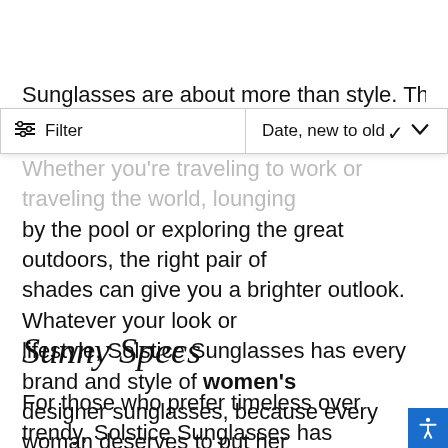Sunglasses are about more than style. The right pair of shades can
[Figure (other): Filter bar UI element with filter icon and 'Filter' label on the left, and 'Date, new to old' sort dropdown with chevron on the right]
Whether you're traveling to work or traveling the world, lounging by the pool or exploring the great outdoors, the right pair of shades can give you a brighter outlook. Whatever your look or lifestyle, Solstice Sunglasses has every brand and style of women's designer sunglasses, because every woman deserves to put her best face forward. Solstice Sunglasses understands that the sunglasses you choose will be one of the most defining style decisions you will make.
Sunny Specs
For those who prefer timeless over trendy, Solstice Sunglasses has classic, time-tested styles of designer sunglasses for women from